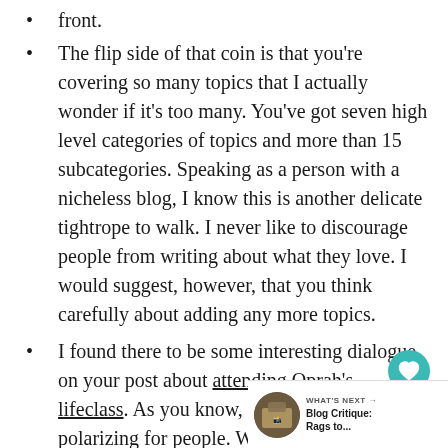front.
The flip side of that coin is that you’re covering so many topics that I actually wonder if it’s too many. You’ve got seven high level categories of topics and more than 15 subcategories. Speaking as a person with a nicheless blog, I know this is another delicate tightrope to walk. I never like to discourage people from writing about what they love. I would suggest, however, that you think carefully about adding any more topics.
I found there to be some interesting dialogue on your post about attending Oprah’s lifeclass. As you know, stuff like re… be polarizing for people. While I a… this post was too preachy, it definitely invited
[Figure (other): Heart icon button (teal circle with white heart)]
[Figure (other): Share icon button (light grey circle with share symbol)]
[Figure (other): What's Next panel with circular thumbnail image and text: WHAT'S NEXT -> Blog Critique: Rags to...]